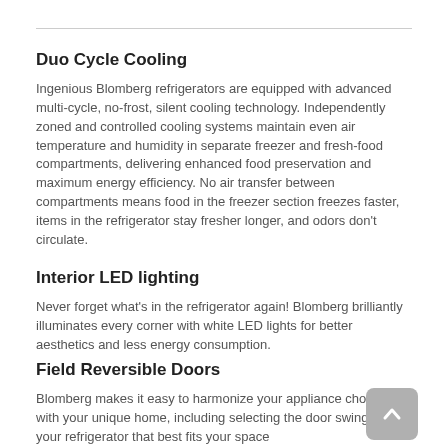Duo Cycle Cooling
Ingenious Blomberg refrigerators are equipped with advanced multi-cycle, no-frost, silent cooling technology. Independently zoned and controlled cooling systems maintain even air temperature and humidity in separate freezer and fresh-food compartments, delivering enhanced food preservation and maximum energy efficiency. No air transfer between compartments means food in the freezer section freezes faster, items in the refrigerator stay fresher longer, and odors don't circulate.
Interior LED lighting
Never forget what's in the refrigerator again! Blomberg brilliantly illuminates every corner with white LED lights for better aesthetics and less energy consumption.
Field Reversible Doors
Blomberg makes it easy to harmonize your appliance choices with your unique home, including selecting the door swing for your refrigerator that best fits your space